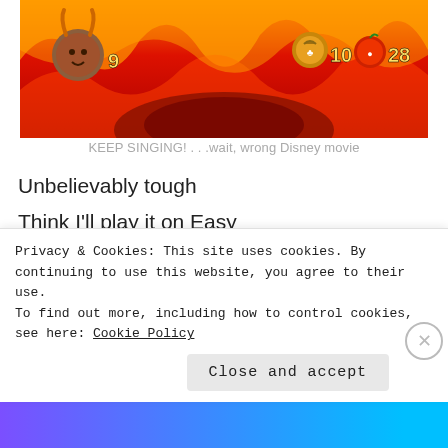[Figure (screenshot): Video game screenshot with a fiery/flame background in reds and oranges. HUD shows a character icon on the left with number 9, and two icons (acorn/coin and apple) on the right with numbers 10 and 28.]
KEEP SINGING! . . .wait, wrong Disney movie
Unbelievably tough
Think I'll play it on Easy
Animations are awesome,
I swear they look just like the film
A whole new game! (in 1993)
Though not that much variety to see
Privacy & Cookies: This site uses cookies. By continuing to use this website, you agree to their use. To find out more, including how to control cookies, see here: Cookie Policy
Close and accept